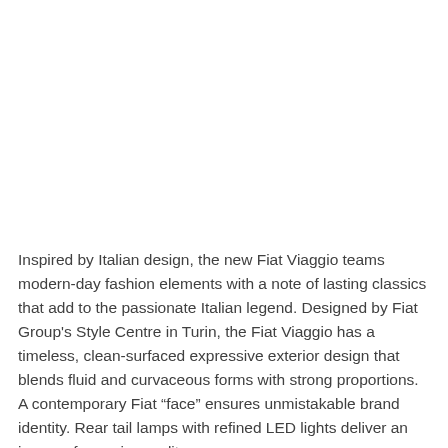Inspired by Italian design, the new Fiat Viaggio teams modern-day fashion elements with a note of lasting classics that add to the passionate Italian legend. Designed by Fiat Group's Style Centre in Turin, the Fiat Viaggio has a timeless, clean-surfaced expressive exterior design that blends fluid and curvaceous forms with strong proportions. A contemporary Fiat “face” ensures unmistakable brand identity. Rear tail lamps with refined LED lights deliver an image of superior quality.